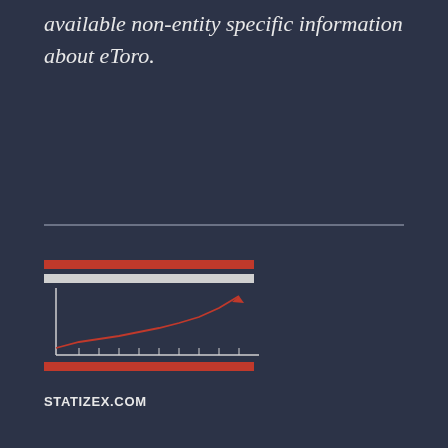available non-entity specific information about eToro.
[Figure (logo): Statizex.com logo with a small line chart graphic showing upward trend, two horizontal red and white bars above, and the text STATIZEX.COM below in bold white uppercase letters.]